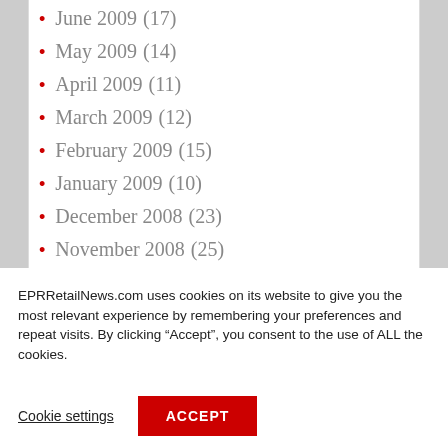June 2009 (17)
May 2009 (14)
April 2009 (11)
March 2009 (12)
February 2009 (15)
January 2009 (10)
December 2008 (23)
November 2008 (25)
EPRRetailNews.com uses cookies on its website to give you the most relevant experience by remembering your preferences and repeat visits. By clicking “Accept”, you consent to the use of ALL the cookies.
Cookie settings
ACCEPT